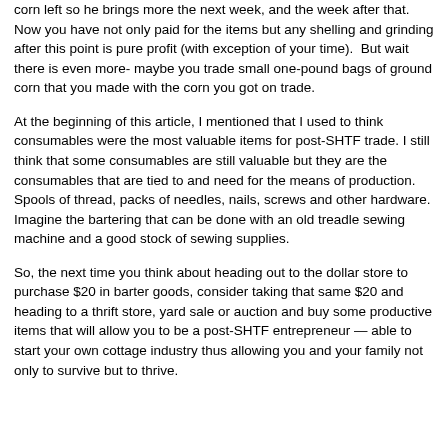corn left so he brings more the next week, and the week after that. Now you have not only paid for the items but any shelling and grinding after this point is pure profit (with exception of your time).  But wait there is even more- maybe you trade small one-pound bags of ground corn that you made with the corn you got on trade.
At the beginning of this article, I mentioned that I used to think consumables were the most valuable items for post-SHTF trade. I still think that some consumables are still valuable but they are the consumables that are tied to and need for the means of production. Spools of thread, packs of needles, nails, screws and other hardware. Imagine the bartering that can be done with an old treadle sewing machine and a good stock of sewing supplies.
So, the next time you think about heading out to the dollar store to purchase $20 in barter goods, consider taking that same $20 and heading to a thrift store, yard sale or auction and buy some productive items that will allow you to be a post-SHTF entrepreneur — able to start your own cottage industry thus allowing you and your family not only to survive but to thrive.